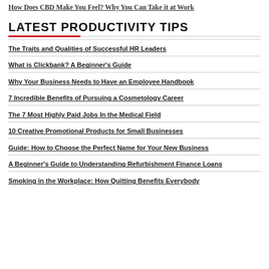How Does CBD Make You Feel? Why You Can Take it at Work
LATEST PRODUCTIVITY TIPS
The Traits and Qualities of Successful HR Leaders
What is Clickbank? A Beginner's Guide
Why Your Business Needs to Have an Employee Handbook
7 Incredible Benefits of Pursuing a Cosmetology Career
The 7 Most Highly Paid Jobs In the Medical Field
10 Creative Promotional Products for Small Businesses
Guide: How to Choose the Perfect Name for Your New Business
A Beginner's Guide to Understanding Refurbishment Finance Loans
Smoking in the Workplace: How Quitting Benefits Everybody